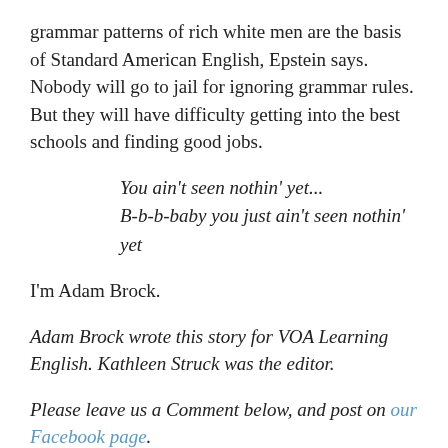grammar patterns of rich white men are the basis of Standard American English, Epstein says. Nobody will go to jail for ignoring grammar rules. But they will have difficulty getting into the best schools and finding good jobs.
You ain't seen nothin' yet...
B-b-b-baby you just ain't seen nothin' yet
I'm Adam Brock.
Adam Brock wrote this story for VOA Learning English. Kathleen Struck was the editor.
Please leave us a Comment below, and post on our Facebook page.